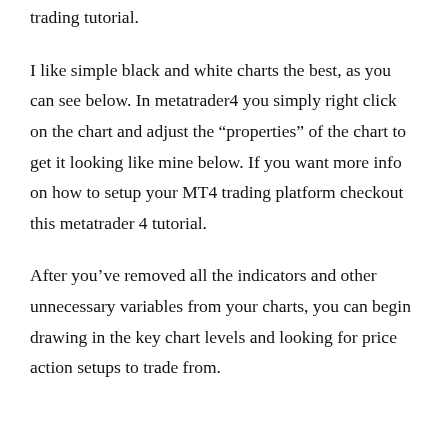trading tutorial.
I like simple black and white charts the best, as you can see below. In metatrader4 you simply right click on the chart and adjust the “properties” of the chart to get it looking like mine below. If you want more info on how to setup your MT4 trading platform checkout this metatrader 4 tutorial.
After you’ve removed all the indicators and other unnecessary variables from your charts, you can begin drawing in the key chart levels and looking for price action setups to trade from.